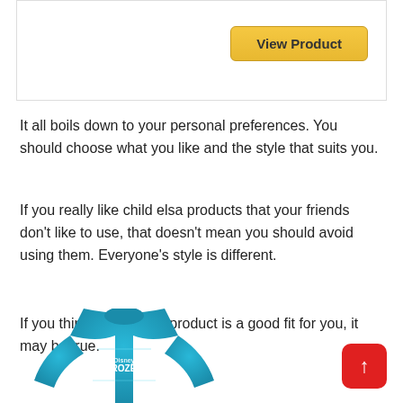[Figure (screenshot): Top bordered box with a golden 'View Product' button on the right]
It all boils down to your personal preferences. You should choose what you like and the style that suits you.
If you really like child elsa products that your friends don't like to use, that doesn't mean you should avoid using them. Everyone's style is different.
If you think a child elsa product is a good fit for you, it may be true.
[Figure (photo): Light blue Disney Frozen children's shirt/costume at the bottom of the page]
[Figure (other): Red back-to-top button with upward arrow in bottom right corner]